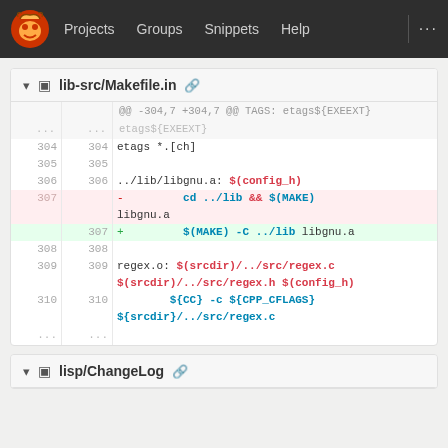Projects  Groups  Snippets  Help  ...
lib-src/Makefile.in
@@ -304,7 +304,7 @@ TAGS: etags${EXEEXT}
304 304  etags *.[ch]
305 305
306 306  ../lib/libgnu.a: $(config_h)
307     - cd ../lib && $(MAKE) libgnu.a
    307 + $(MAKE) -C ../lib libgnu.a
308 308
309 309  regex.o: $(srcdir)/../src/regex.c $(srcdir)/../src/regex.h $(config_h)
310 310     ${CC} -c ${CPP_CFLAGS} ${srcdir}/../src/regex.c
...
lisp/ChangeLog